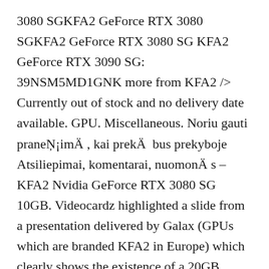3080 SGKFA2 GeForce RTX 3080 SGKFA2 GeForce RTX 3080 SG KFA2 GeForce RTX 3090 SG: 39NSM5MD1GNK more from KFA2 /> Currently out of stock and no delivery date available. GPU. Miscellaneous. Noriu gauti praneŠ¡imÄ , kai prekÄ  bus prekyboje Atsiliepimai, komentarai, nuomonÄ s – KFA2 Nvidia GeForce RTX 3080 SG 10GB. Videocardz highlighted a slide from a presentation delivered by Galax (GPUs which are branded KFA2 in Europe) which clearly shows the existence of a 20GB version of the RTX 3080 â¦ KFA2 RTX 3080 EX Gamer White (1-Click OC) 1440 MHz: 1755 MHz: 1188 MHz: 316 â¦ GPU Model. Base (MHz) Boost (MHz) Type.